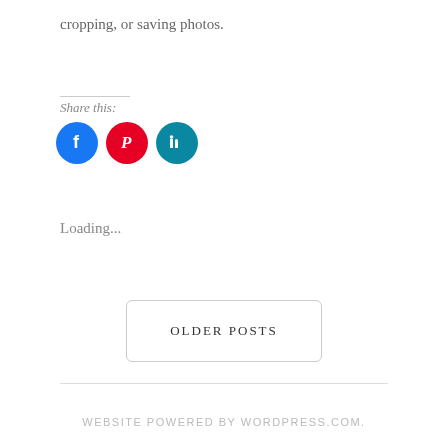cropping, or saving photos.
Share this
[Figure (illustration): Three social media icon buttons: Facebook (blue circle), Pinterest (red circle), LinkedIn (teal circle)]
Loading...
OLDER POSTS
WEBSITE POWERED BY WORDPRESS.COM.